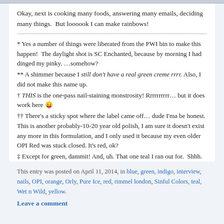Okay, next is cooking many foods, answering many emails, deciding many things.  But loooook I can make rainbows!
* Yes a number of things were liberated from the PWI bin to make this happen!  The daylight shot is SC Enchanted, because by morning I had dinged my pinky. …somehow?
** A shimmer because I still don't have a real green creme rrrr. Also, I did not make this name up.
† THIS is the one-pass nail-staining monstrosity! Rrrrrrrrrr… but it does work here 😛
†† There's a sticky spot where the label came off… dude I'ma be honest. This is another probably-10-20 year old polish, I am sure it doesn't exist any more in this formulation, and I only used it because my even older OPI Red was stuck closed. It's red, ok?
‡ Except for green, dammit! And, uh. That one teal I ran out for.  Shhh.
This entry was posted on April 11, 2014, in blue, green, indigo, interview, nails, OPI, orange, Orly, Pure Ice, red, rimmel london, Sinful Colors, teal, Wet n Wild, yellow.
Leave a comment